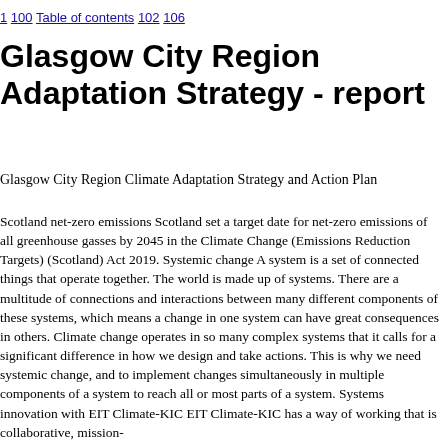1 100 Table of contents 102 106
Glasgow City Region Adaptation Strategy - report
Glasgow City Region Climate Adaptation Strategy and Action Plan
Scotland net-zero emissions Scotland set a target date for net-zero emissions of all greenhouse gasses by 2045 in the Climate Change (Emissions Reduction Targets) (Scotland) Act 2019. Systemic change A system is a set of connected things that operate together. The world is made up of systems. There are a multitude of connections and interactions between many different components of these systems, which means a change in one system can have great consequences in others. Climate change operates in so many complex systems that it calls for a significant difference in how we design and take actions. This is why we need systemic change, and to implement changes simultaneously in multiple components of a system to reach all or most parts of a system. Systems innovation with EIT Climate-KIC EIT Climate-KIC has a way of working that is collaborative, mission-